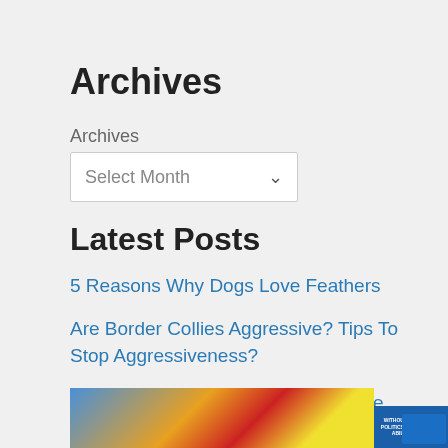Archives
Archives
Select Month
Latest Posts
5 Reasons Why Dogs Love Feathers
Are Border Collies Aggressive? Tips To Stop Aggressiveness?
The Best Australian Mountain Doodle Guide! (2022)
[Figure (photo): Airplane cargo photo at bottom of page with advertisement overlay text 'WITHOUT REGARD TO POLITICS, RELIGION, OR ABILITY TO PAY']